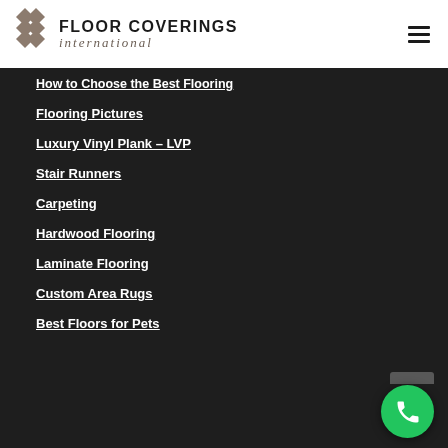[Figure (logo): Floor Coverings International logo with diamond tile pattern and company name]
How to Choose the Best Flooring
Flooring Pictures
Luxury Vinyl Plank – LVP
Stair Runners
Carpeting
Hardwood Flooring
Laminate Flooring
Custom Area Rugs
Best Floors for Pets